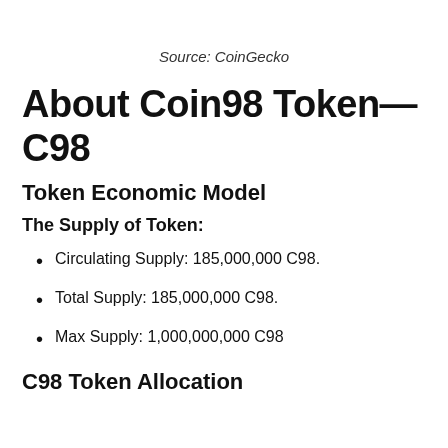Source: CoinGecko
About Coin98 Token—C98
Token Economic Model
The Supply of Token:
Circulating Supply: 185,000,000 C98.
Total Supply: 185,000,000 C98.
Max Supply: 1,000,000,000 C98
C98 Token Allocation